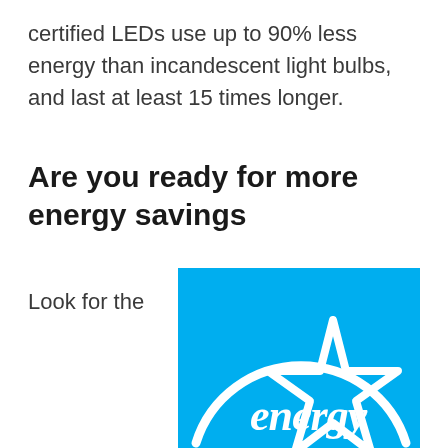certified LEDs use up to 90% less energy than incandescent light bulbs, and last at least 15 times longer.
Are you ready for more energy savings
Look for the
[Figure (logo): ENERGY STAR logo — cyan/blue square background with white arch and white star outline, with 'energy' in white script text overlaid on the star]